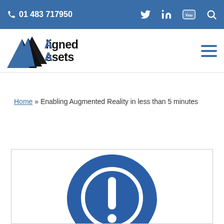01 483 717950
[Figure (logo): Aligned Assets company logo with triangle icon]
Home » Enabling Augmented Reality in less than 5 minutes
[Figure (illustration): Blue map pin / location marker icon with an exclamation mark inside a circle]